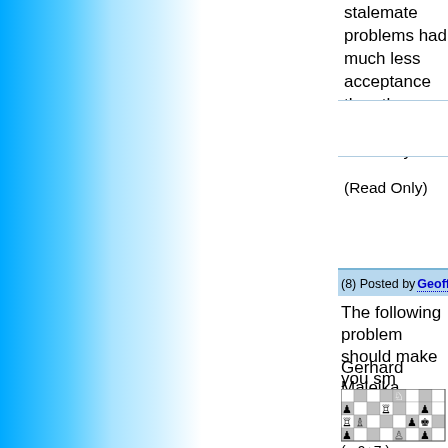stalemate problems had much less acceptance than they have nowadays.
(Read Only)
(8) Posted by Geoff Foster [Tuesday, Dec 1, 2009 22
The following problem should make you sm
Gerhard Maleika, feenschach, 1984
[Figure (other): Chess diagram showing a chess position with white and black pieces on an 8x8 board. White pieces: Rook on a6, Bishop on b6, Rook on d7, King on a5, Bishop on d5, Pawn on b4, Pawn on d4, Knight on e8, Pawn on h4, Pawn on h2. Black pieces: Pawn on a7, Pawn on h7, Pawn on a6 (wait - reassessing), King on h6, Pawn on g6, Pawn on a5, Pawn on h5.]
(= 9+7 )